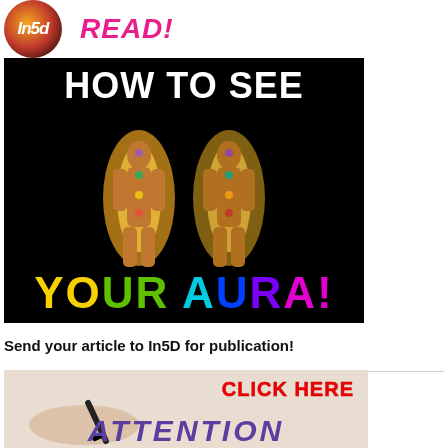[Figure (logo): In5D circular logo with fire/galaxy design and italic white text 'In5d']
READ!
[Figure (illustration): Dark background image showing two glowing human aura figures with colorful chakras and rainbow text. Title text reads 'HOW TO SEE YOUR AURA!']
Send your article to In5D for publication!
[Figure (illustration): Image of hands writing with pen. Text overlay: 'CLICK HERE' in red and 'ATTENTION' in purple italic letters.]